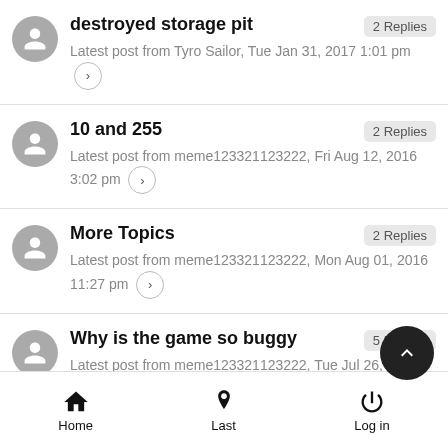destroyed storage pit — 2 Replies — Latest post from Tyro Sailor, Tue Jan 31, 2017 1:01 pm
10 and 255 — 2 Replies — Latest post from meme123321123222, Fri Aug 12, 2016 3:02 pm
More Topics — 2 Replies — Latest post from meme123321123222, Mon Aug 01, 2016 11:27 pm
Why is the game so buggy — 5 Replies — Latest post from meme123321123222, Tue Jul 26, 2016 4:11 pm
Home | Last | Log in